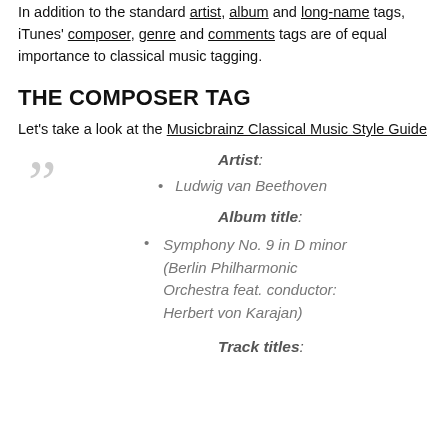In addition to the standard artist, album and long-name tags, iTunes' composer, genre and comments tags are of equal importance to classical music tagging.
THE COMPOSER TAG
Let's take a look at the Musicbrainz Classical Music Style Guide
Artist:
Ludwig van Beethoven
Album title:
Symphony No. 9 in D minor (Berlin Philharmonic Orchestra feat. conductor: Herbert von Karajan)
Track titles: